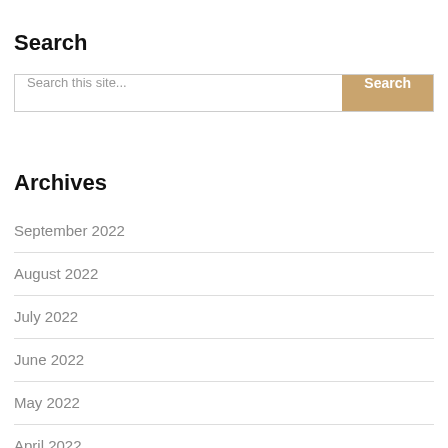Search
Search this site...
Archives
September 2022
August 2022
July 2022
June 2022
May 2022
April 2022